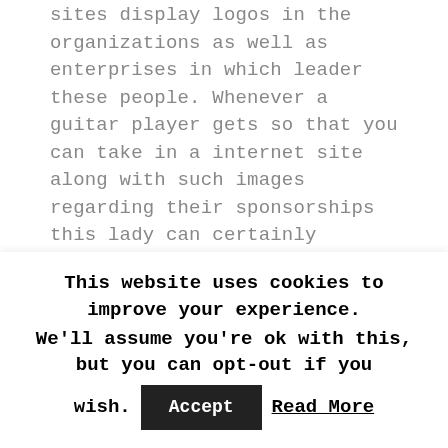sites display logos in the organizations as well as enterprises in which leader these people. Whenever a guitar player gets so that you can take in a internet site along with such images regarding their sponsorships this lady can certainly properly conclude that blog is not a new unwarranted an individual.
If an individual confirms just about any divergence inside her credit standing card fact after exposing the selection the lady can certainly then as well as there email or call the assistance staff of this very game playing portal by e-mail or over a telephone call or even
This website uses cookies to improve your experience. We'll assume you're ok with this, but you can opt-out if you wish. Accept Read More